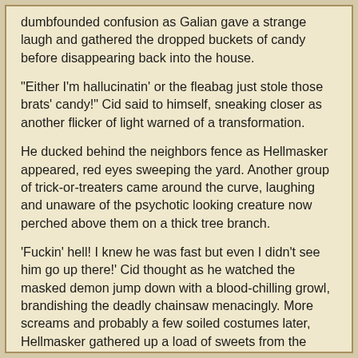dumbfounded confusion as Galian gave a strange laugh and gathered the dropped buckets of candy before disappearing back into the house.
"Either I'm hallucinatin' or the fleabag just stole those brats' candy!" Cid said to himself, sneaking closer as another flicker of light warned of a transformation.
He ducked behind the neighbors fence as Hellmasker appeared, red eyes sweeping the yard. Another group of trick-or-treaters came around the curve, laughing and unaware of the psychotic looking creature now perched above them on a thick tree branch.
'Fuckin' hell! I knew he was fast but even I didn't see him go up there!' Cid thought as he watched the masked demon jump down with a blood-chilling growl, brandishing the deadly chainsaw menacingly. More screams and probably a few soiled costumes later, Hellmasker gathered up a load of sweets from the sidewalk and returned to the house, a raspy chuckle in his wake.